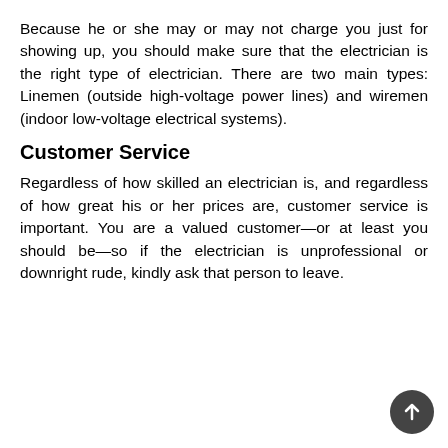Because he or she may or may not charge you just for showing up, you should make sure that the electrician is the right type of electrician. There are two main types: Linemen (outside high-voltage power lines) and wiremen (indoor low-voltage electrical systems).
Customer Service
Regardless of how skilled an electrician is, and regardless of how great his or her prices are, customer service is important. You are a valued customer—or at least you should be—so if the electrician is unprofessional or downright rude, kindly ask that person to leave.